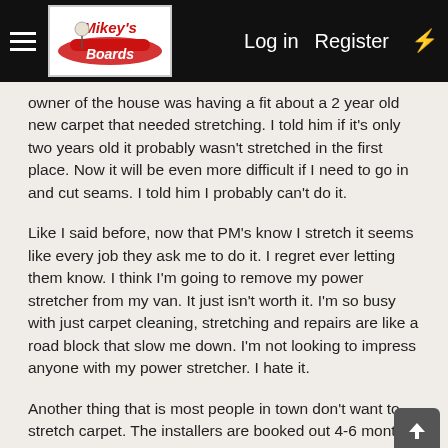Mikey's Boards — Log in  Register
owner of the house was having a fit about a 2 year old new carpet that needed stretching. I told him if it's only two years old it probably wasn't stretched in the first place. Now it will be even more difficult if I need to go in and cut seams. I told him I probably can't do it.
Like I said before, now that PM's know I stretch it seems like every job they ask me to do it. I regret ever letting them know. I think I'm going to remove my power stretcher from my van. It just isn't worth it. I'm so busy with just carpet cleaning, stretching and repairs are like a road block that slow me down. I'm not looking to impress anyone with my power stretcher. I hate it.
Another thing that is most people in town don't want to stretch carpet. The installers are booked out 4-6 months. It easier for the PM to just throw it at me and hope I do it. Also there are too many unknowns with re-stretching. You don't know what you are